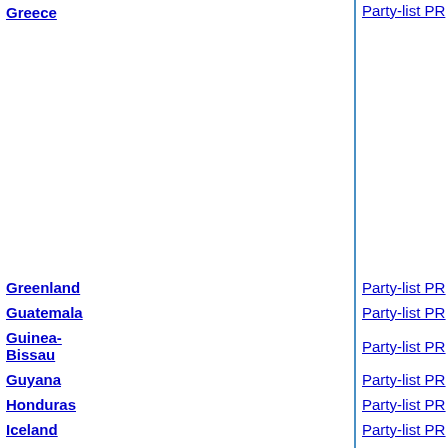| Country | Scope | Electoral system |
| --- | --- | --- |
| Greece |  | Party-list PR |
| Greenland |  | Party-list PR |
| Guatemala |  | Party-list PR |
| Guinea-Bissau |  | Party-list PR |
| Guyana |  | Party-list PR |
| Honduras |  | Party-list PR |
| Iceland |  | Party-list PR |
| Indonesia |  | Party-list PR |
| Ireland | Lower house of national legislature | Single transferable vote (STV) |